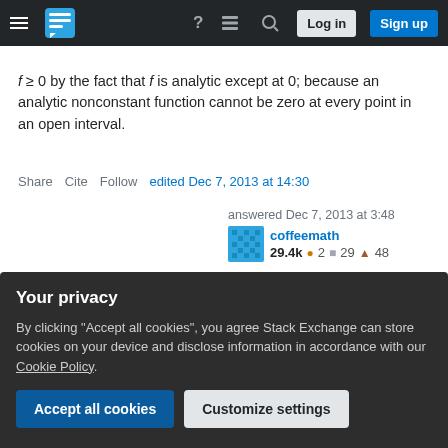Stack Exchange navigation bar with hamburger menu, logo, help, chat, search icons, Log in and Sign up buttons
f ≥ 0 by the fact that f is analytic except at 0; because an analytic nonconstant function cannot be zero at every point in an open interval.
Share   Cite   Follow   edited Dec 7, 2013 at 14:30
answered Dec 7, 2013 at 3:48
coffeemath  29.4k  ● 2  ■ 29  ▲ 48
Your privacy
By clicking "Accept all cookies", you agree Stack Exchange can store cookies on your device and disclose information in accordance with our Cookie Policy.
Accept all cookies   Customize settings
@ParamanandSingh -- Yes I thought that, though involved